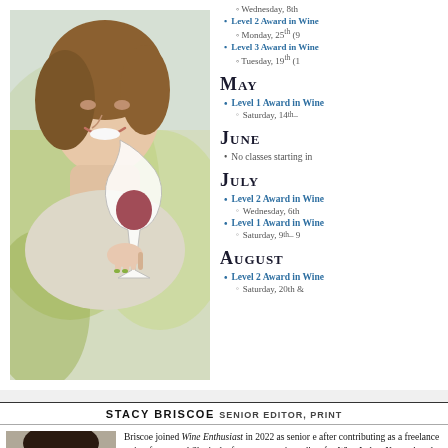[Figure (photo): Woman smiling and holding a wine glass up to the light, outdoors with green background]
Wednesday, 8th
Level 2 Award in Wine
Monday, 25th (9
Level 3 Award in Wine
Tuesday, 19th (1
May
Level 1 Award in Wine
Saturday, 14th –
June
No classes starting in
July
Level 2 Award in Wine
Wednesday, 6th
Level 1 Award in Wine
Saturday, 9th – 9
August
Level 2 Award in Wine
Saturday, 20th &
STACY BRISCOE SENIOR EDITOR, PRINT
[Figure (photo): Headshot of Stacy Briscoe, woman with dark hair]
Briscoe joined Wine Enthusiast in 2022 as senior e after contributing as a freelance writer for several She is the former managing editor for Wine Indust Network and former assistant editor of Wine Busi